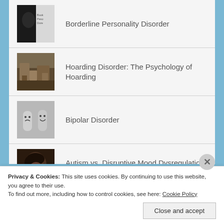Borderline Personality Disorder
Hoarding Disorder: The Psychology of Hoarding
Bipolar Disorder
Autism vs. Disruptive Mood Dysregulation Disorder (DMDD)
Privacy & Cookies: This site uses cookies. By continuing to use this website, you agree to their use.
To find out more, including how to control cookies, see here: Cookie Policy
Close and accept